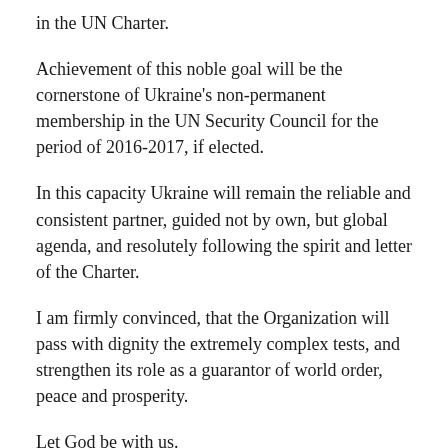in the UN Charter.
Achievement of this noble goal will be the cornerstone of Ukraine's non-permanent membership in the UN Security Council for the period of 2016-2017, if elected.
In this capacity Ukraine will remain the reliable and consistent partner, guided not by own, but global agenda, and resolutely following the spirit and letter of the Charter.
I am firmly convinced, that the Organization will pass with dignity the extremely complex tests, and strengthen its role as a guarantor of world order, peace and prosperity.
Let God be with us.
Thank you for your attention.
Glory to Ukraine!